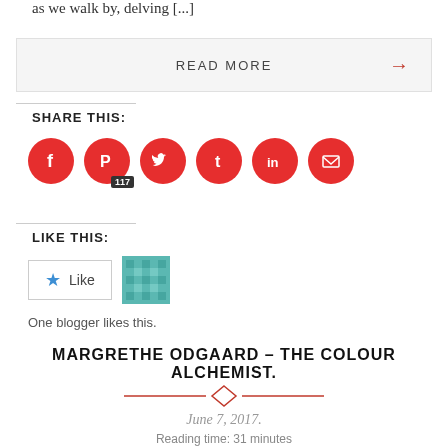as we walk by, delving [...]
READ MORE →
SHARE THIS:
[Figure (infographic): Six red circular social media share buttons: Facebook, Pinterest (with 117 badge), Twitter, Tumblr, LinkedIn, Email]
LIKE THIS:
[Figure (infographic): Like button with blue star and teal patterned avatar tile]
One blogger likes this.
MARGRETHE ODGAARD – THE COLOUR ALCHEMIST.
[Figure (illustration): Red decorative horizontal line with diamond ornament in the center]
June 7, 2017.
Reading time: 31 minutes